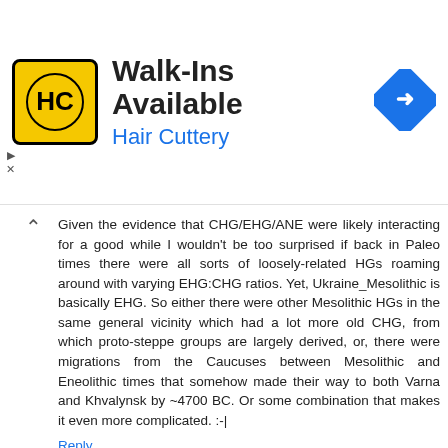[Figure (other): Hair Cuttery advertisement banner with logo, 'Walk-Ins Available' headline, and navigation arrow icon]
Given the evidence that CHG/EHG/ANE were likely interacting for a good while I wouldn't be too surprised if back in Paleo times there were all sorts of loosely-related HGs roaming around with varying EHG:CHG ratios. Yet, Ukraine_Mesolithic is basically EHG. So either there were other Mesolithic HGs in the same general vicinity which had a lot more old CHG, from which proto-steppe groups are largely derived, or, there were migrations from the Caucuses between Mesolithic and Eneolithic times that somehow made their way to both Varna and Khvalynsk by ~4700 BC. Or some combination that makes it even more complicated. :-|
Reply
JuanRivera November 20, 2018 at 5:48 PM
When modeling Khvalynsk, Global 25 runs have a slightly